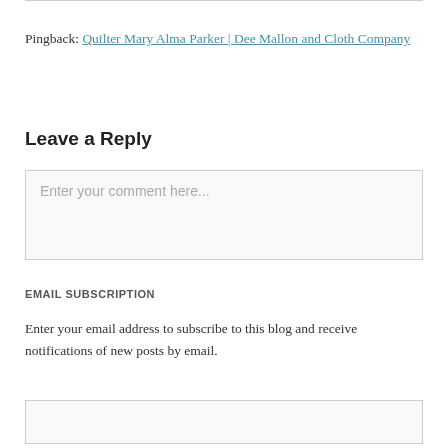Pingback: Quilter Mary Alma Parker | Dee Mallon and Cloth Company
Leave a Reply
Enter your comment here...
EMAIL SUBSCRIPTION
Enter your email address to subscribe to this blog and receive notifications of new posts by email.